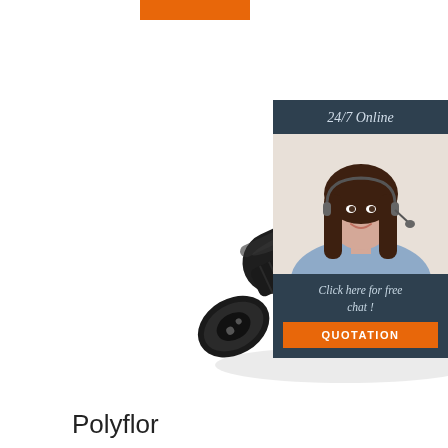[Figure (other): Orange horizontal bar/banner element at top of page]
[Figure (photo): Black plastic electrical waterproof connector with two pins, shown at an angle with separate cap piece]
[Figure (infographic): 24/7 Online chat advertisement box with dark blue-grey background, photo of smiling woman with headset, text 'Click here for free chat!' and orange QUOTATION button]
Polyflor